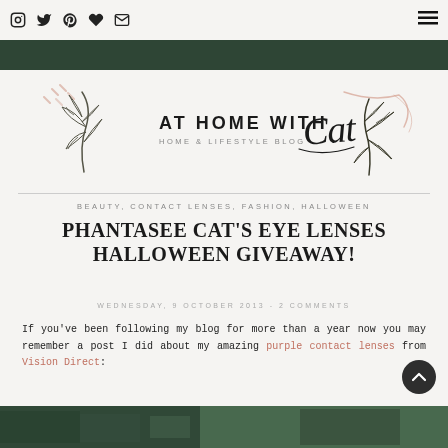Social icons: Instagram, Twitter, Pinterest, Heart, Email | Menu hamburger
[Figure (logo): AT HOME WITH Cat — Home & Lifestyle Blog logo with botanical illustrations]
BEAUTY, CONTACT LENSES, FASHION, HALLOWEEN
PHANTASEE CAT'S EYE LENSES HALLOWEEN GIVEAWAY!
WEDNESDAY, 9 OCTOBER 2013 - 2 COMMENTS
If you've been following my blog for more than a year now you may remember a post I did about my amazing purple contact lenses from Vision Direct:
[Figure (photo): Partial bottom image of a person wearing cat eye contact lenses for Halloween]